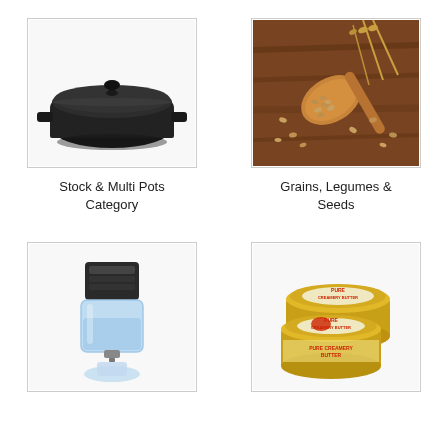[Figure (photo): Black cast iron dutch oven with lid, shown from a slight angle above]
Stock & Multi Pots Category
[Figure (photo): Wooden spoon with grains/seeds on a wooden background with wheat stalks]
Grains, Legumes & Seeds
[Figure (photo): Water filter/purifier tower with blue transparent body and black top]
[Figure (photo): Two round tins of Pure Creamery Butter with red label design]